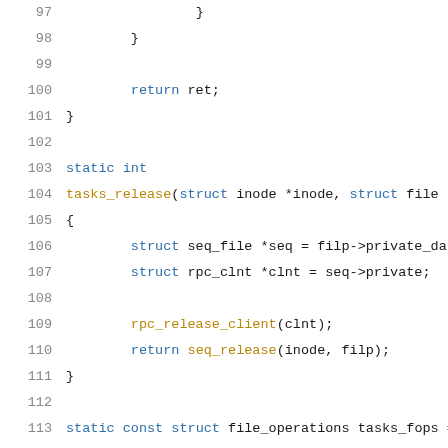Source code lines 97–117 showing a C function tasks_release and a file_operations struct initialization.